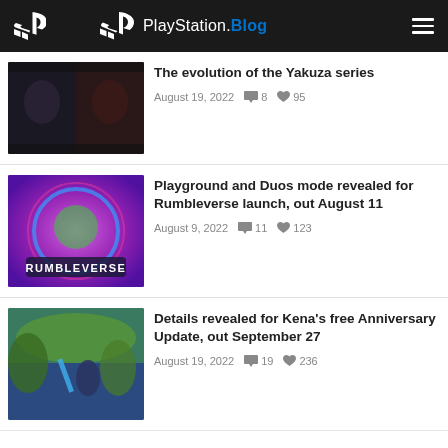PlayStation.Blog
The evolution of the Yakuza series
August 19, 2022   8   95
Playground and Duos mode revealed for Rumbleverse launch, out August 11
August 9, 2022   11   123
Details revealed for Kena's free Anniversary Update, out September 27
August 19, 2022   19   236